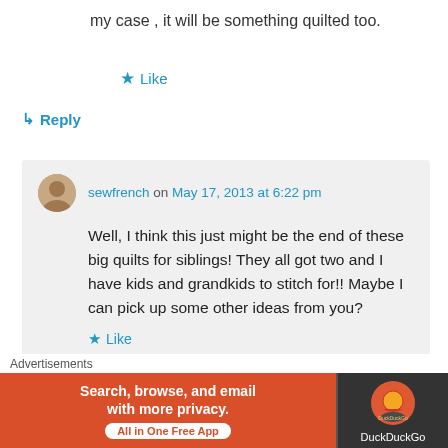my case , it will be something quilted too.
★ Like
↳ Reply
sewfrench on May 17, 2013 at 6:22 pm
Well, I think this just might be the end of these big quilts for siblings! They all got two and I have kids and grandkids to stitch for!! Maybe I can pick up some other ideas from you?
★ Like
Advertisements
[Figure (screenshot): DuckDuckGo advertisement banner: orange background with text 'Search, browse, and email with more privacy. All in One Free App' and DuckDuckGo logo on dark right panel.]